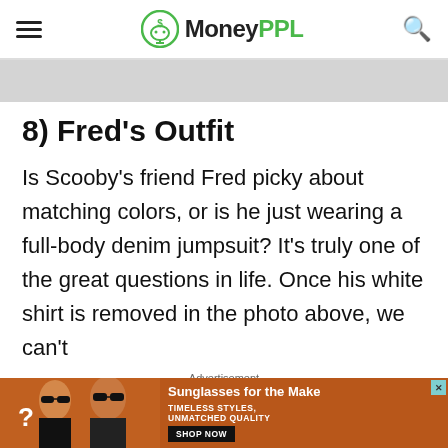MoneyPPL
8) Fred's Outfit
Is Scooby's friend Fred picky about matching colors, or is he just wearing a full-body denim jumpsuit? It's truly one of the great questions in life. Once his white shirt is removed in the photo above, we can't
Advertisement
[Figure (photo): Advertisement banner showing two women wearing sunglasses with text 'Sunglasses for the Make', 'TIMELESS STYLES, UNMATCHED QUALITY' and a 'SHOP NOW' button]